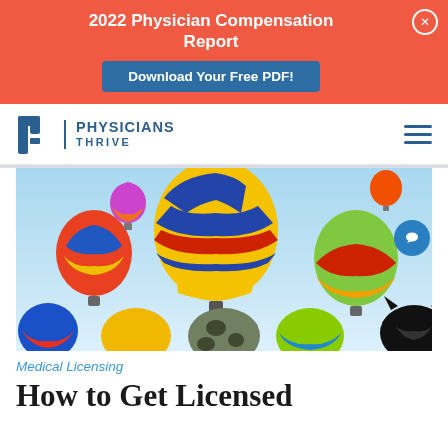2022 Physician Compensation Report
Download Your Free PDF!
[Figure (logo): Physicians Thrive logo with stylized 'PT' icon and company name]
[Figure (photo): Colorful hot air balloons floating in a blue sky at a balloon festival]
Medical Licensing
How to Get Licensed